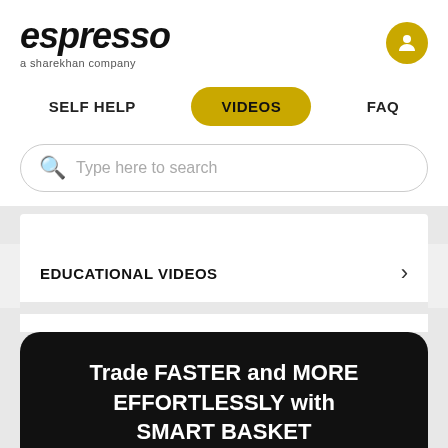[Figure (logo): Espresso logo — a sharekhan company, with user profile icon]
SELF HELP | VIDEOS | FAQ
Type here to search
EDUCATIONAL VIDEOS
Trade FASTER and MORE EFFORTLESSLY with SMART BASKET
Execute multiple scrips across segments with just 1 click!
KNOW MORE